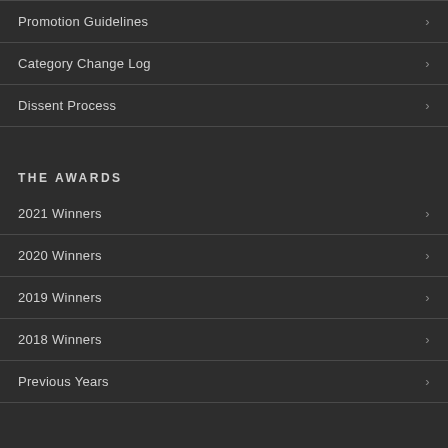Promotion Guidelines
Category Change Log
Dissent Process
THE AWARDS
2021 Winners
2020 Winners
2019 Winners
2018 Winners
Previous Years